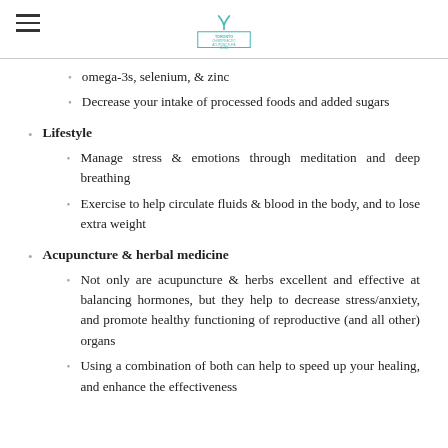Toronto Chiropractic Acupuncture Clinic logo and navigation
omega-3s, selenium, & zinc
Decrease your intake of processed foods and added sugars
Lifestyle
Manage stress & emotions through meditation and deep breathing
Exercise to help circulate fluids & blood in the body, and to lose extra weight
Acupuncture & herbal medicine
Not only are acupuncture & herbs excellent and effective at balancing hormones, but they help to decrease stress/anxiety, and promote healthy functioning of reproductive (and all other) organs
Using a combination of both can help to speed up your healing, and enhance the effectiveness